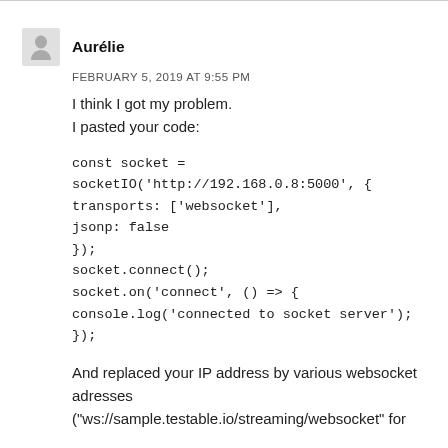Aurélie
FEBRUARY 5, 2019 AT 9:55 PM
I think I got my problem.
I pasted your code:
const socket = socketIO('http://192.168.0.8:5000', {
transports: ['websocket'],
jsonp: false
});
socket.connect();
socket.on('connect', () => {
console.log('connected to socket server');
});
And replaced your IP address by various websocket adresses
("ws://sample.testable.io/streaming/websocket" for